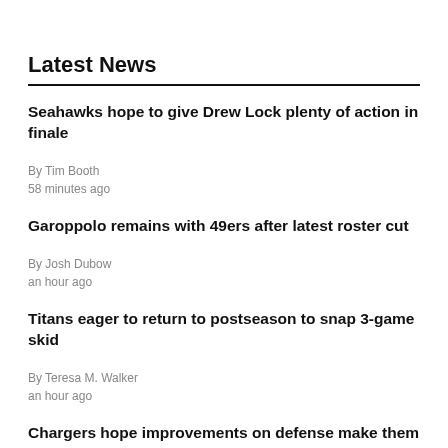Latest News
Seahawks hope to give Drew Lock plenty of action in finale
By Tim Booth
58 minutes ago
Garoppolo remains with 49ers after latest roster cut
By Josh Dubow
an hour ago
Titans eager to return to postseason to snap 3-game skid
By Teresa M. Walker
an hour ago
Chargers hope improvements on defense make them